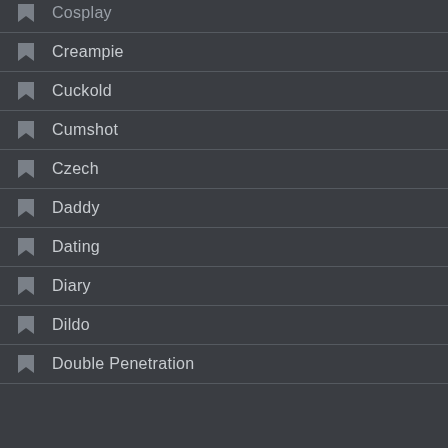Cosplay
Creampie
Cuckold
Cumshot
Czech
Daddy
Dating
Diary
Dildo
Double Penetration